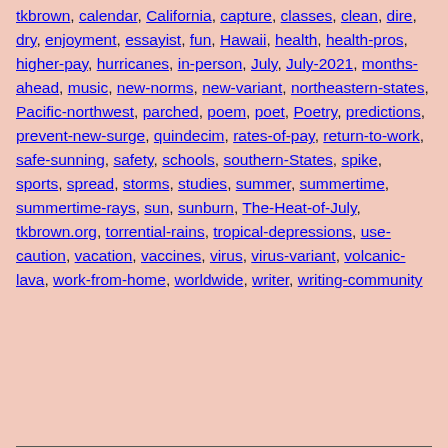tkbrown, calendar, California, capture, classes, clean, dire, dry, enjoyment, essayist, fun, Hawaii, health, health-pros, higher-pay, hurricanes, in-person, July, July-2021, months-ahead, music, new-norms, new-variant, northeastern-states, Pacific-northwest, parched, poem, poet, Poetry, predictions, prevent-new-surge, quindecim, rates-of-pay, return-to-work, safe-sunning, safety, schools, southern-States, spike, sports, spread, storms, studies, summer, summertime, summertime-rays, sun, sunburn, The-Heat-of-July, tkbrown.org, torrential-rains, tropical-depressions, use-caution, vacation, vaccines, virus, virus-variant, volcanic-lava, work-from-home, worldwide, writer, writing-community